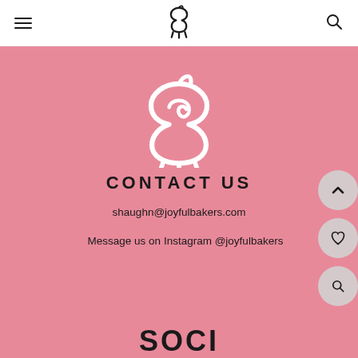Navigation bar with hamburger menu, cupcake logo, and search icon
[Figure (logo): Large white cupcake/swirl logo on pink background]
CONTACT US
shaughn@joyfulbakers.com
Message us on Instagram @joyfulbakers
SOCI